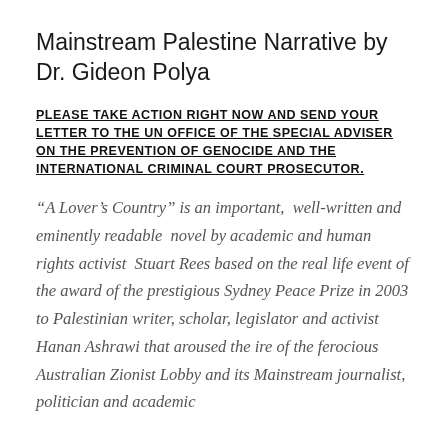Mainstream Palestine Narrative by Dr. Gideon Polya
PLEASE TAKE ACTION RIGHT NOW AND SEND YOUR LETTER TO THE UN OFFICE OF THE SPECIAL ADVISER ON THE PREVENTION OF GENOCIDE AND THE INTERNATIONAL CRIMINAL COURT PROSECUTOR.
“A Lover’s Country” is an important, well-written and eminently readable novel by academic and human rights activist Stuart Rees based on the real life event of the award of the prestigious Sydney Peace Prize in 2003 to Palestinian writer, scholar, legislator and activist Hanan Ashrami that aroused the ire of the ferocious Australian Zionist Lobby and its Mainstream journalist, politician and academic